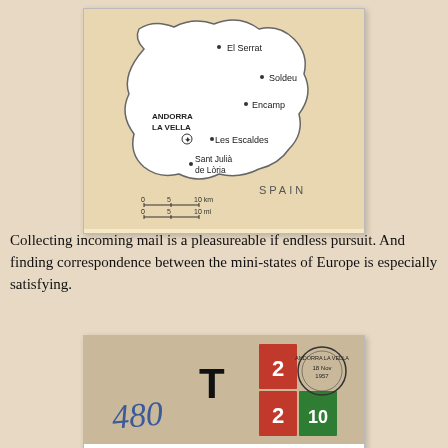[Figure (map): Map of Andorra showing cities: El Serrat, Soldeu, Encamp, Andorra la Vella (capital, starred), Les Escaldes, Sant Julià de Lòria. Spain labeled to the south. Scale bar showing 0-5-10 km and 0-5-10 mi.]
Collecting incoming mail is a pleasureable if endless pursuit. And finding correspondence between the mini-states of Europe is especially satisfying.
[Figure (photo): Photo of an envelope with postage stamps (red and green) and a circular postmark reading ANDORRA LA VELLA dated 18 Nov 1957. A large T is stamped on the envelope, and handwritten markings including '480' in blue ink.]